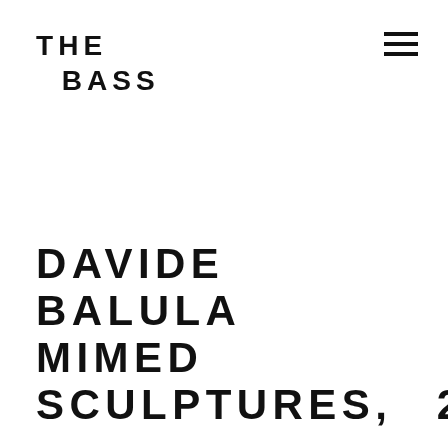THE BASS
DAVIDE BALULA MIMED SCULPTURES, 2016
OCT 26-OCT 29, 2017
Sculpture is an art of palpation—an art that gives